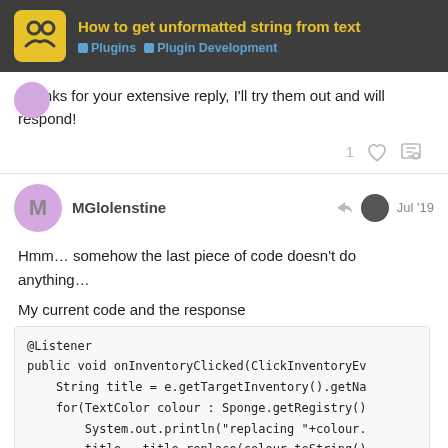How to get unformatted string from text | Plugins | Plugin Development
Thanks for your extensive reply, I'll try them out and will respond!
MGlolenstine Jul '19
Hmm... somehow the last piece of code doesn't do anything...
My current code and the response
@Listener
public void onInventoryClicked(ClickInventoryEv
    String title = e.getTargetInventory().getNa
    for(TextColor colour : Sponge.getRegistry()
        System.out.println("replacing "+colour.
        title = title.replace(colour.toString()